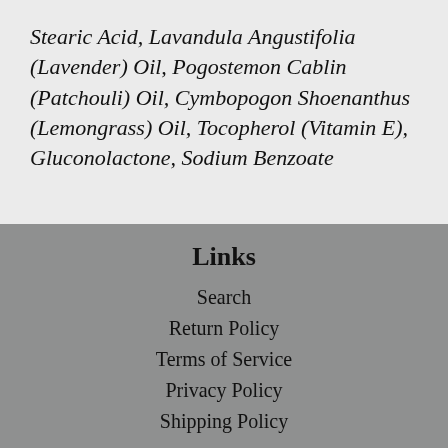Stearic Acid, Lavandula Angustifolia (Lavender) Oil, Pogostemon Cablin (Patchouli) Oil, Cymbopogon Shoenanthus (Lemongrass) Oil, Tocopherol (Vitamin E), Gluconolactone, Sodium Benzoate
Links
Search
Return Policy
Terms of Service
Privacy Policy
Shipping Policy